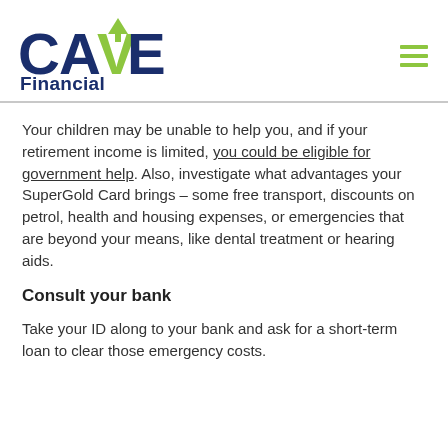[Figure (logo): CAVE Financial logo with green checkmark arrow above the V and navy blue text]
Your children may be unable to help you, and if your retirement income is limited, you could be eligible for government help. Also, investigate what advantages your SuperGold Card brings – some free transport, discounts on petrol, health and housing expenses, or emergencies that are beyond your means, like dental treatment or hearing aids.
Consult your bank
Take your ID along to your bank and ask for a short-term loan to clear those emergency costs.